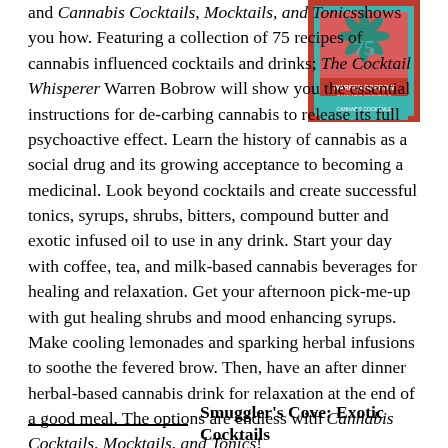[Figure (photo): Book cover for Cannabis Cocktails, Mocktails, and Tonics by Warren Bobrow, showing a cannabis leaf and the number 75 on a pink/red background]
and Cannabis Cocktails, Mocktails, and Tonicsshows you how. Featuring a collection of 75 recipes of cannabis influenced cocktails and drinks; The Cocktail Whisperer Warren Bobrow will show you the essential instructions for de-carbing cannabis to release its full psychoactive effect. Learn the history of cannabis as a social drug and its growing acceptance to becoming a medicinal. Look beyond cocktails and create successful tonics, syrups, shrubs, bitters, compound butter and exotic infused oil to use in any drink. Start your day with coffee, tea, and milk-based cannabis beverages for healing and relaxation. Get your afternoon pick-me-up with gut healing shrubs and mood enhancing syrups. Make cooling lemonades and sparking herbal infusions to soothe the fevered brow. Then, have an after dinner herbal-based cannabis drink for relaxation at the end of a good meal. The options are endless with Cannabis Cocktails, Mocktails, and Tonics!
Smuggler's Cove: Exotic Cocktails